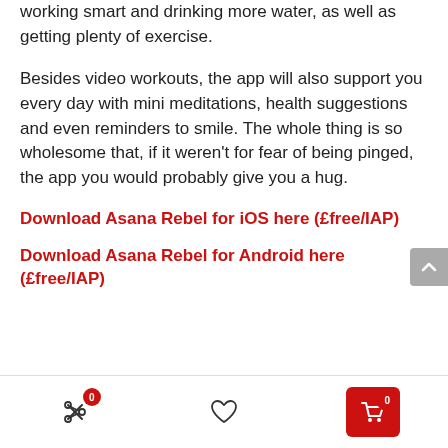working smart and drinking more water, as well as getting plenty of exercise.
Besides video workouts, the app will also support you every day with mini meditations, health suggestions and even reminders to smile. The whole thing is so wholesome that, if it weren't for fear of being pinged, the app you would probably give you a hug.
Download Asana Rebel for iOS here (£free/IAP)
Download Asana Rebel for Android here (£free/IAP)
[Figure (screenshot): Bottom navigation bar with three icons: scissors/share icon with red badge showing 0, heart/wishlist icon, and red shopping cart button with badge showing 0. Also a grey scroll-to-top button on the right side.]